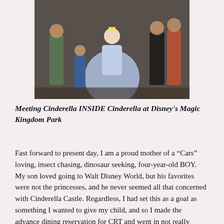[Figure (photo): A family group photo with a person dressed as Cinderella in a blue gown, posing with several adults and a young child inside Cinderella Castle at Disney's Magic Kingdom Park.]
Meeting Cinderella INSIDE Cinderella at Disney's Magic Kingdom Park
Fast forward to present day, I am a proud mother of a “Cars” loving, insect chasing, dinosaur seeking, four-year-old BOY. My son loved going to Walt Disney World, but his favorites were not the princesses, and he never seemed all that concerned with Cinderella Castle. Regardless, I had set this as a goal as something I wanted to give my child, and so I made the advance dining reservation for CRT and went in not really knowing what to expect.